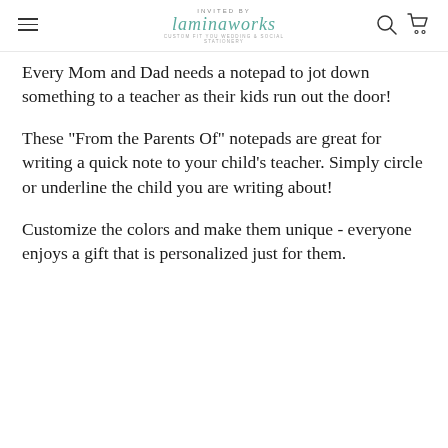INVITED BY laminaworks — custom stationery
Every Mom and Dad needs a notepad to jot down something to a teacher as their kids run out the door!
These "From the Parents Of" notepads are great for writing a quick note to your child's teacher. Simply circle or underline the child you are writing about!
Customize the colors and make them unique - everyone enjoys a gift that is personalized just for them.